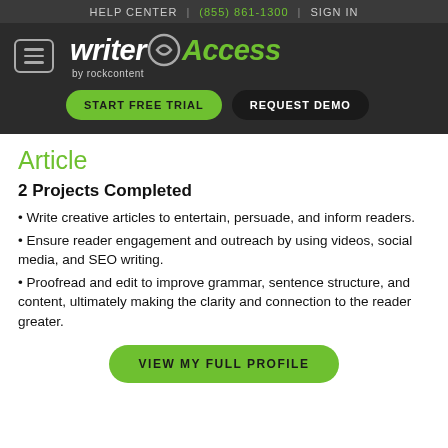HELP CENTER | (855) 861-1300 | SIGN IN
[Figure (logo): WriterAccess by rockcontent logo with START FREE TRIAL and REQUEST DEMO buttons]
Article
2 Projects Completed
Write creative articles to entertain, persuade, and inform readers.
Ensure reader engagement and outreach by using videos, social media, and SEO writing.
Proofread and edit to improve grammar, sentence structure, and content, ultimately making the clarity and connection to the reader greater.
VIEW MY FULL PROFILE